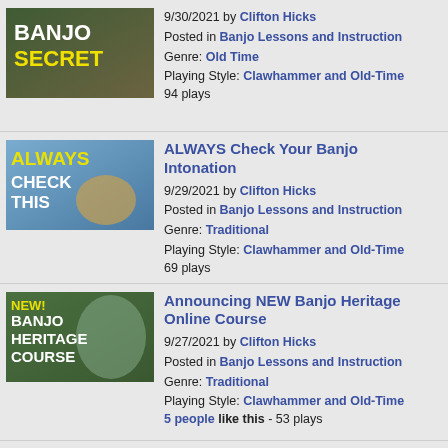[Figure (photo): Thumbnail image with text BANJO SECRET on dark background]
9/30/2021 by Clifton Hicks
Posted in Banjo Lessons and Instruction
Genre: Old Time
Playing Style: Clawhammer and Old-Time
94 plays
[Figure (photo): Thumbnail image with text ALWAYS CHECK THIS]
ALWAYS Check Your Banjo Intonation
9/29/2021 by Clifton Hicks
Posted in Banjo Lessons and Instruction
Genre: Traditional
Playing Style: Clawhammer and Old-Time
69 plays
[Figure (photo): Thumbnail image with text NEW! BANJO HERITAGE COURSE]
Announcing NEW Banjo Heritage Online Course
9/27/2021 by Clifton Hicks
Posted in Banjo Lessons and Instruction
Genre: Traditional
Playing Style: Clawhammer and Old-Time
5 people like this - 53 plays
[Figure (photo): Thumbnail image for Clifton Hicks Little Gray Mule]
Clifton Hicks - Little Gray Mule -